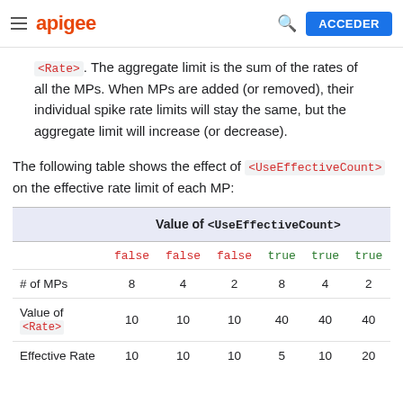apigee  ACCEDER
<Rate>. The aggregate limit is the sum of the rates of all the MPs. When MPs are added (or removed), their individual spike rate limits will stay the same, but the aggregate limit will increase (or decrease).
The following table shows the effect of <UseEffectiveCount> on the effective rate limit of each MP:
|  | Value of <UseEffectiveCount> |
| --- | --- |
|  | false | false | false | true | true | true |
| # of MPs | 8 | 4 | 2 | 8 | 4 | 2 |
| Value of <Rate> | 10 | 10 | 10 | 40 | 40 | 40 |
| Effective Rate | 10 | 10 | 10 | 5 | 10 | 20 |